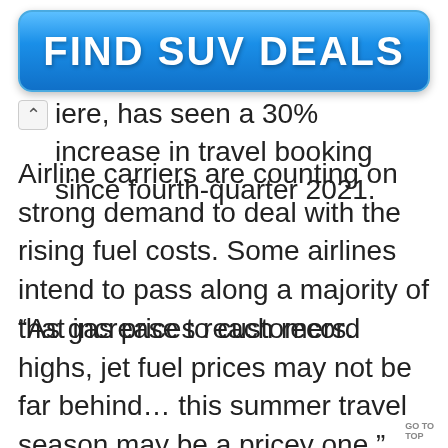[Figure (other): Blue rounded rectangle advertisement button with bold white text 'FIND SUV DEALS']
…iere, has seen a 30% increase in travel booking since fourth-quarter 2021.
Airline carriers are counting on strong demand to deal with the rising fuel costs. Some airlines intend to pass along a majority of that increase to customers.
“As gas prices reach record highs, jet fuel prices may not be far behind… this summer travel season may be a pricey one,” said Paul Jacobs, GM and VP o